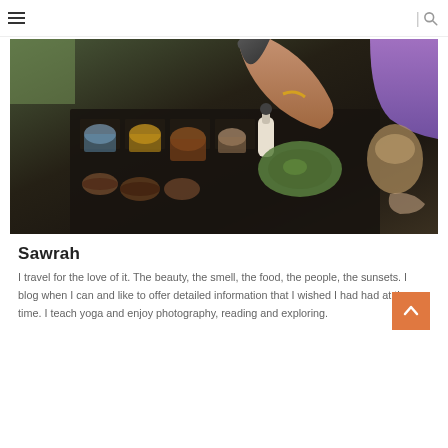≡  | 🔍
[Figure (photo): Photo of a person at a table with various drinks and a green ceramic dish, viewed from above at a cafe or food tasting setting]
Sawrah
I travel for the love of it. The beauty, the smell, the food, the people, the sunsets. I blog when I can and like to offer detailed information that I wished I had had at the time. I teach yoga and enjoy photography, reading and exploring.